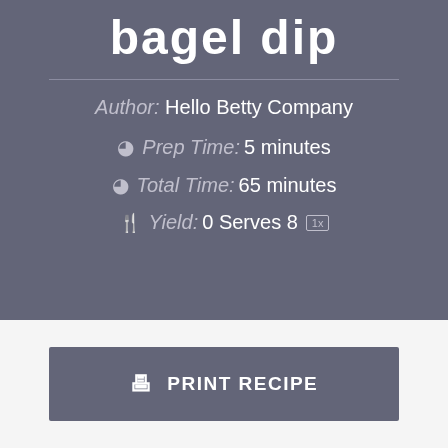bagel dip
Author: Hello Betty Company
Prep Time: 5 minutes
Total Time: 65 minutes
Yield: 0 Serves 8 1x
PRINT RECIPE